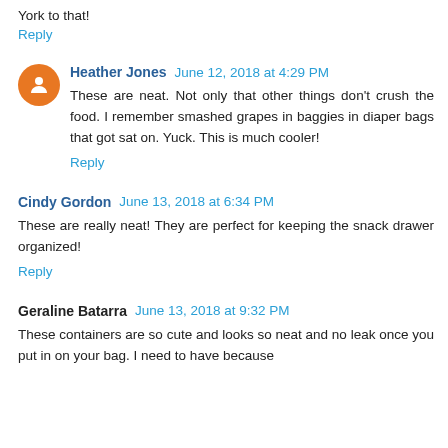York to that!
Reply
Heather Jones  June 12, 2018 at 4:29 PM
These are neat. Not only that other things don't crush the food. I remember smashed grapes in baggies in diaper bags that got sat on. Yuck. This is much cooler!
Reply
Cindy Gordon  June 13, 2018 at 6:34 PM
These are really neat! They are perfect for keeping the snack drawer organized!
Reply
Geraline Batarra  June 13, 2018 at 9:32 PM
These containers are so cute and looks so neat and no leak once you put in on your bag. I need to have because